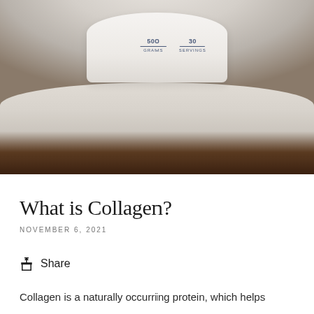[Figure (photo): Close-up photo of a white collagen supplement container sitting on the brim of a white cowboy hat, with the container showing '500 GRAMS' and '30 SERVINGS' on its lid. The background is blurred with dark brown tones.]
What is Collagen?
NOVEMBER 6, 2021
Share
Collagen is a naturally occurring protein, which helps